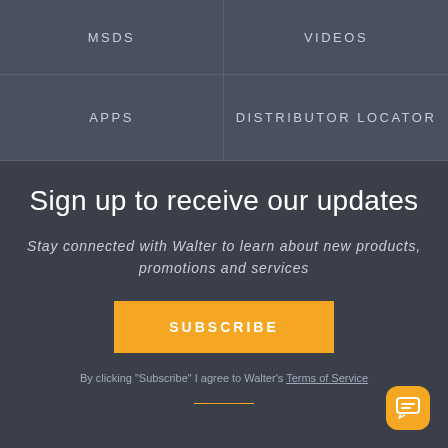MSDS
VIDEOS
APPS
DISTRIBUTOR LOCATOR
Sign up to receive our updates
Stay connected with Walter to learn about new products, promotions and services
SUBSCRIBE
By clicking "Subscribe" I agree to Walter's Terms of Service